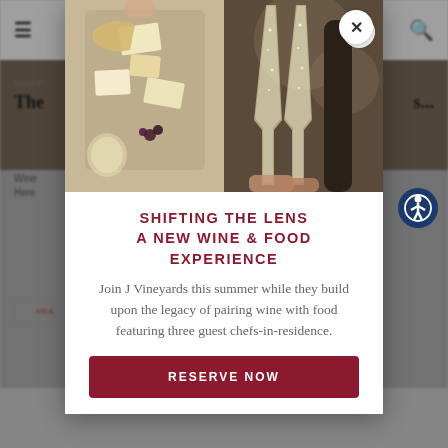[Figure (screenshot): Background website page showing navigation bar with hamburger menu and search icon, a partially visible article with title 'The...' and subtext, and a dimmed overlay.]
[Figure (photo): Modal popup with two food/drink photos side by side: left photo shows a cheese and charcuterie platter with a glass of white wine viewed from above; right photo shows two champagne flutes being toasted with a wine bottle in background.]
SHIFTING THE LENS
A NEW WINE & FOOD
EXPERIENCE
Join J Vineyards this summer while they build upon the legacy of pairing wine with food featuring three guest chefs-in-residence.
RESERVE NOW